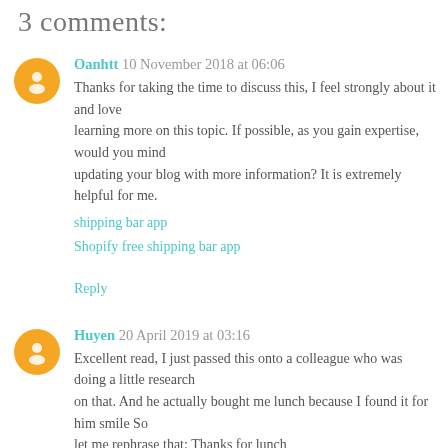3 comments:
Oanhtt 10 November 2018 at 06:06
Thanks for taking the time to discuss this, I feel strongly about it and love learning more on this topic. If possible, as you gain expertise, would you mind updating your blog with more information? It is extre...
shipping bar app
Shopify free shipping bar app
Reply
Huyen 20 April 2019 at 03:16
Excellent read, I just passed this onto a colleague who was doing a little research on that. And he actually bought me lunch because I found it for him smile So let me rephrase that: Thanks for lunch
free games
jogos 4 school
Reply